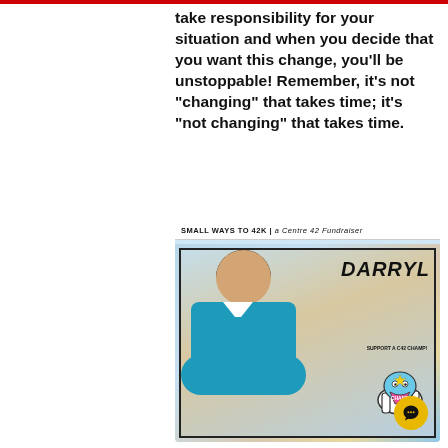take responsibility for your situation and when you decide that you want this change, you'll be unstoppable! Remember, it's not "changing" that takes time; it's "not changing" that takes time.
[Figure (photo): Fundraiser promotional image for 'Small Ways to 42K | a Centre 42 Fundraiser' featuring a smiling Asian man named Darryl in a teal polo shirt with arms crossed, with a cartoon mascot 'Champ' on the right side and a yellow chat bubble icon in the bottom right corner.]